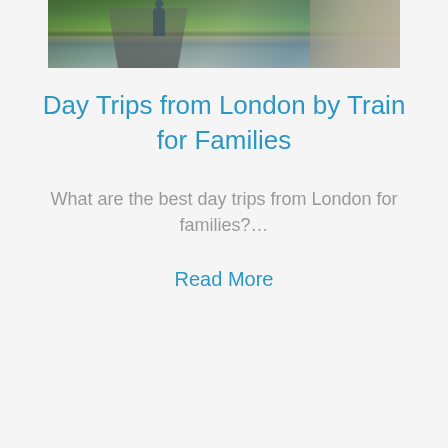[Figure (photo): Outdoor photo showing a person walking along a riverside path next to a stone wall, with grass and trees visible]
Day Trips from London by Train for Families
What are the best day trips from London for families?…
Read More